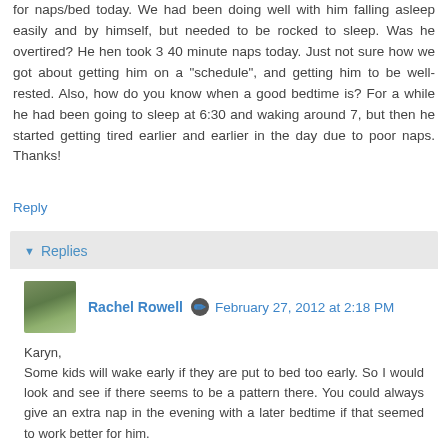for naps/bed today. We had been doing well with him falling asleep easily and by himself, but needed to be rocked to sleep. Was he overtired? He hen took 3 40 minute naps today. Just not sure how we got about getting him on a "schedule", and getting him to be well-rested. Also, how do you know when a good bedtime is? For a while he had been going to sleep at 6:30 and waking around 7, but then he started getting tired earlier and earlier in the day due to poor naps. Thanks!
Reply
Replies
Rachel Rowell  February 27, 2012 at 2:18 PM
Karyn,
Some kids will wake early if they are put to bed too early. So I would look and see if there seems to be a pattern there. You could always give an extra nap in the evening with a later bedtime if that seemed to work better for him.